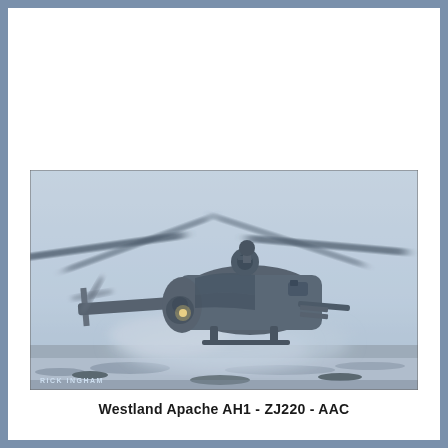[Figure (photo): A Westland Apache AH1 attack helicopter (serial ZJ220, Army Air Corps) hovering low in dusty/snowy desert conditions. The helicopter is viewed from slightly below front-left, with rotor blades blurred from rotation. A light is visible on the nose. Dust and debris are kicked up beneath the aircraft. Photographer credit 'RICK INGHAM' visible in bottom-left corner. The image is in cool blue-grey tones.]
Westland Apache AH1 - ZJ220 - AAC